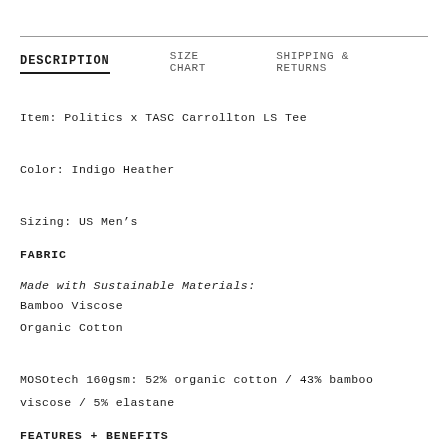DESCRIPTION   SIZE CHART   SHIPPING & RETURNS
Item: Politics x TASC Carrollton LS Tee
Color: Indigo Heather
Sizing: US Men's
FABRIC
Made with Sustainable Materials:
Bamboo Viscose
Organic Cotton
MOSOtech 160gsm: 52% organic cotton / 43% bamboo viscose / 5% elastane
FEATURES + BENEFITS